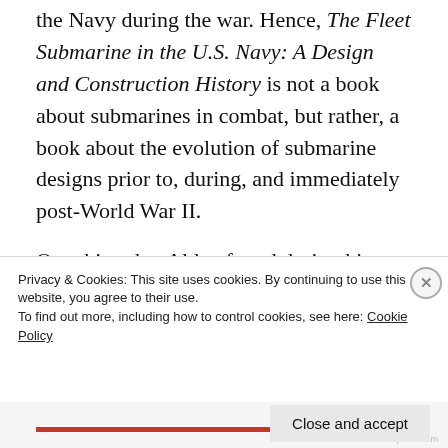famous Fleet Boat type submarine that served the Navy during the war. Hence, The Fleet Submarine in the U.S. Navy: A Design and Construction History is not a book about submarines in combat, but rather, a book about the evolution of submarine designs prior to, during, and immediately post-World War II.

One thing that Alden found during his early research was that there were very few men who knew about the design details for their particular submarines. This is one critical area of...
Privacy & Cookies: This site uses cookies. By continuing to use this website, you agree to their use.
To find out more, including how to control cookies, see here: Cookie Policy